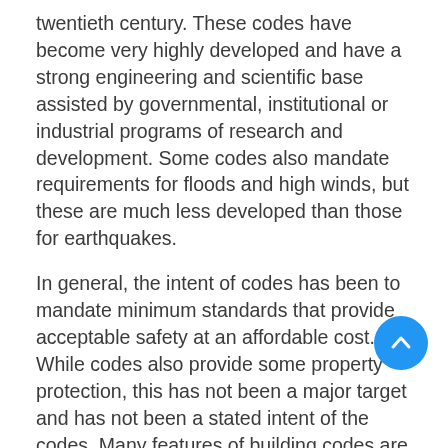twentieth century. These codes have become very highly developed and have a strong engineering and scientific base assisted by governmental, institutional or industrial programs of research and development. Some codes also mandate requirements for floods and high winds, but these are much less developed than those for earthquakes.
In general, the intent of codes has been to mandate minimum standards that provide acceptable safety at an affordable cost. While codes also provide some property protection, this has not been a major target and has not been a stated intent of the codes. Many features of building codes are understood to represent a minimum standard and in practice are almost always exceeded for reasons of comfort and amenity. For example for many decades all U.S. building codes have agreed that the minimum floor area of a bedroom is 70 square feet with a minimum dimension of 7 feet in any horizontal direction; however, few bedrooms in even the most economical tract house are